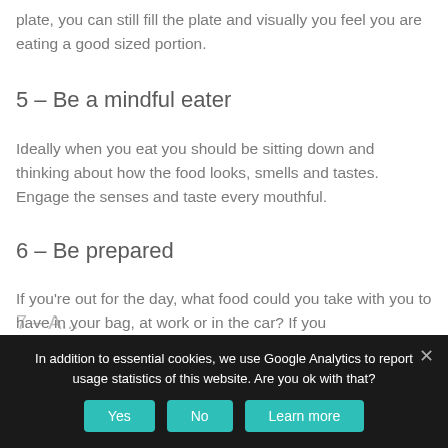plate, you can still fill the plate and visually you feel you are eating a good sized portion.
5 – Be a mindful eater
Ideally when you eat you should be sitting down and thinking about how the food looks, smells and tastes. Engage the senses and taste every mouthful.
6 – Be prepared
If you're out for the day, what food could you take with you to have in your bag, at work or in the car? If you
In addition to essential cookies, we use Google Analytics to report usage statistics of this website. Are you ok with that?
7 – A...